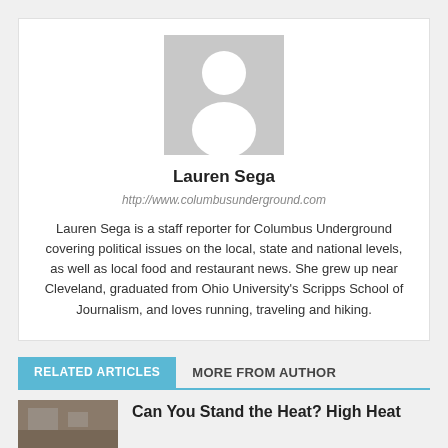[Figure (illustration): Generic person/avatar placeholder silhouette in grey]
Lauren Sega
http://www.columbusunderground.com
Lauren Sega is a staff reporter for Columbus Underground covering political issues on the local, state and national levels, as well as local food and restaurant news. She grew up near Cleveland, graduated from Ohio University's Scripps School of Journalism, and loves running, traveling and hiking.
RELATED ARTICLES
MORE FROM AUTHOR
[Figure (photo): Thumbnail image for article about high heat]
Can You Stand the Heat? High Heat